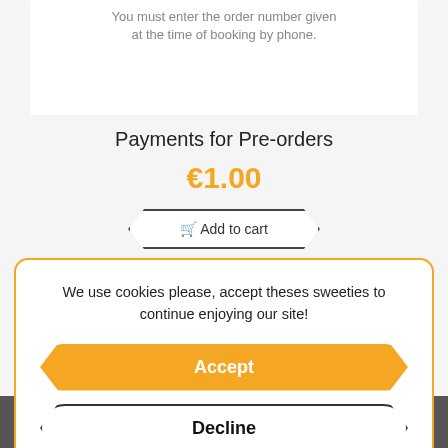You must enter the order number given at the time of booking by phone.
Payments for Pre-orders
€1.00
We use cookies please, accept theses sweeties to continue enjoying our site!
Accept
Decline